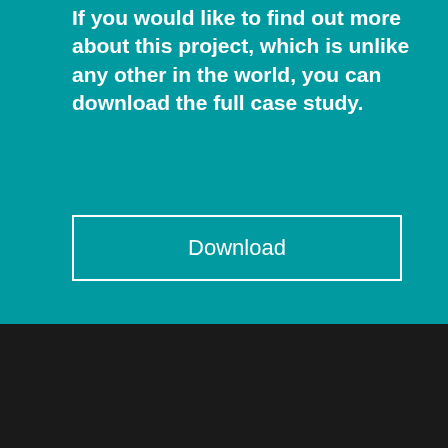If you would like to find out more about this project, which is unlike any other in the world, you can download the full case study.
Download
[Figure (photo): Gray background with partial view of a keyboard in the lower right area]
We are using cookies to give you the best experience on our website.
You can find out more about which cookies we are using or switch them off in settings.
Accept